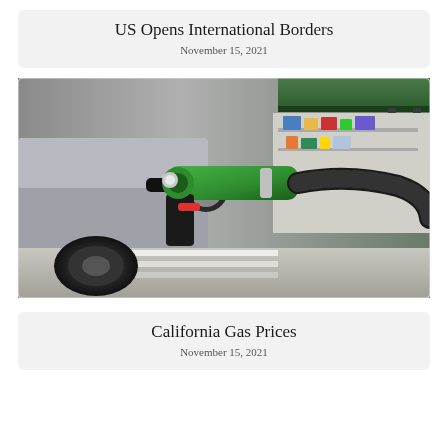US Opens International Borders
November 15, 2021
[Figure (photo): Close-up photograph of a green fuel pump nozzle inserted into a car's gas tank at a gas station, with a canopy and product displays visible in the background.]
California Gas Prices
November 15, 2021